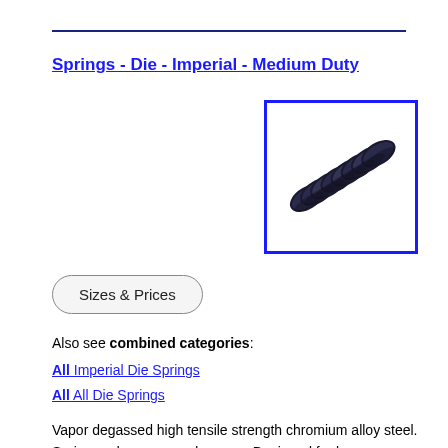Springs - Die - Imperial - Medium Duty
[Figure (photo): Photo of a die spring (compressed coil spring) made of dark chromium alloy steel, shown diagonally, with a blue border frame around the image.]
Sizes & Prices
Also see combined categories:
All Imperial Die Springs
All All Die Springs
Vapor degassed high tensile strength chromium alloy steel. Spring ends are ground square. Designed for long